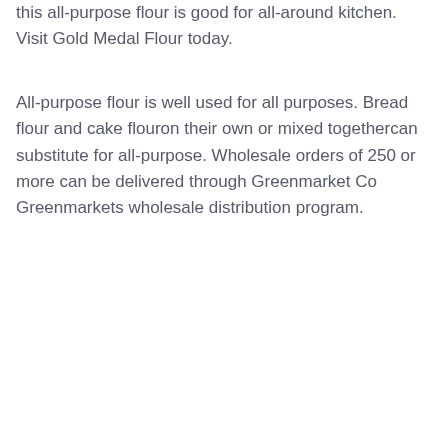this all-purpose flour is good for all-around kitchen. Visit Gold Medal Flour today.
All-purpose flour is well used for all purposes. Bread flour and cake flouron their own or mixed togethercan substitute for all-purpose. Wholesale orders of 250 or more can be delivered through Greenmarket Co Greenmarkets wholesale distribution program.